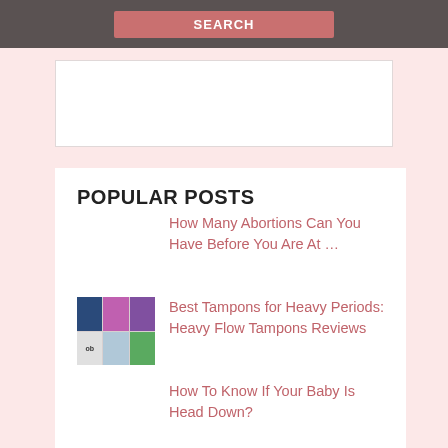[Figure (other): Dark gray banner with pink/red search button labeled SEARCH]
[Figure (other): White advertisement box placeholder]
POPULAR POSTS
How Many Abortions Can You Have Before You Are At …
Best Tampons for Heavy Periods: Heavy Flow Tampons Reviews
How To Know If Your Baby Is Head Down?